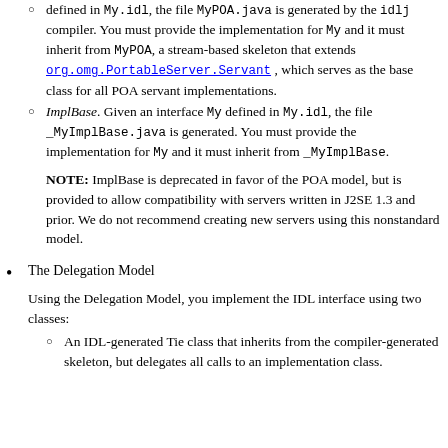defined in My.idl, the file MyPOA.java is generated by the idlj compiler. You must provide the implementation for My and it must inherit from MyPOA, a stream-based skeleton that extends org.omg.PortableServer.Servant , which serves as the base class for all POA servant implementations.
ImplBase. Given an interface My defined in My.idl, the file _MyImplBase.java is generated. You must provide the implementation for My and it must inherit from _MyImplBase.
NOTE: ImplBase is deprecated in favor of the POA model, but is provided to allow compatibility with servers written in J2SE 1.3 and prior. We do not recommend creating new servers using this nonstandard model.
The Delegation Model
Using the Delegation Model, you implement the IDL interface using two classes:
An IDL-generated Tie class that inherits from the compiler-generated skeleton, but delegates all calls to an implementation class.